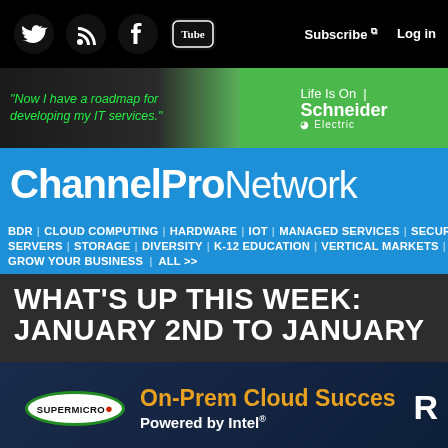ChannelPro Network - Subscribe | Log in
[Figure (screenshot): Schneider Electric advertisement banner: 'Now I have a roadmap for developing my IT services.' Life Is On | Schneider Electric]
ChannelProNetwork
BDR | CLOUD COMPUTING | HARDWARE | IOT | MANAGED SERVICES | SECURITY | SERVERS | STORAGE | DIVERSITY | K-12 EDUCATION | VERTICAL MARKETS | VOIP/UC | GROW YOUR BUSINESS | ALL >>
WHAT'S UP THIS WEEK: JANUARY 2ND TO JANUARY
[Figure (screenshot): Supermicro advertisement: On-Prem Cloud Success, Powered by Intel®]